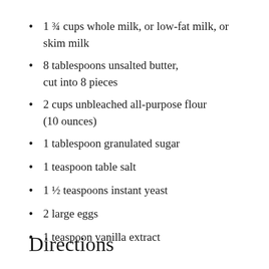1 ¾ cups whole milk, or low-fat milk, or skim milk
8 tablespoons unsalted butter, cut into 8 pieces
2 cups unbleached all-purpose flour (10 ounces)
1 tablespoon granulated sugar
1 teaspoon table salt
1 ½ teaspoons instant yeast
2 large eggs
1 teaspoon vanilla extract
Directions